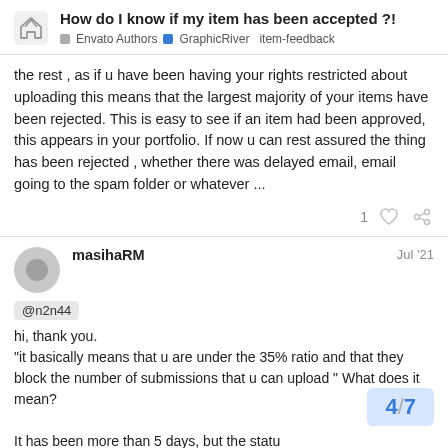How do I know if my item has been accepted ?! | Envato Authors | GraphicRiver | item-feedback
the rest , as if u have been having your rights restricted about uploading this means that the largest majority of your items have been rejected. This is easy to see if an item had been approved, this appears in your portfolio. If now u can rest assured the thing has been rejected , whether there was delayed email, email going to the spam folder or whatever ...
1 [like] [link]
masihaRM  Jul '21
@n2n44
hi, thank you.
"it basically means that u are under the 35% ratio and that they block the number of submissions that u can upload " What does it mean?
It has been more than 5 days, but the statu...
4 / 7